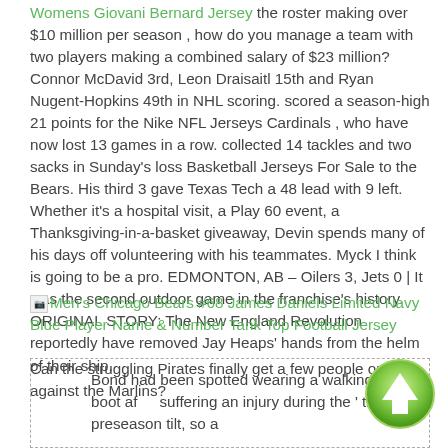Womens Giovani Bernard Jersey the roster making over $10 million per season , how do you manage a team with two players making a combined salary of $23 million? Connor McDavid 3rd, Leon Draisaitl 15th and Ryan Nugent-Hopkins 49th in NHL scoring. scored a season-high 21 points for the Nike NFL Jerseys Cardinals , who have now lost 13 games in a row. collected 14 tackles and two sacks in Sunday's loss Basketball Jerseys For Sale to the Bears. His third 3 gave Texas Tech a 48 lead with 9 left. Whether it's a hospital visit, a Play 60 event, a Thanksgiving-in-a-basket giveaway, Devin spends many of his days off volunteering with his teammates. Myck I think is going to be a pro. EDMONTON, AB – Oilers 3, Jets 0 | It was the second outdoor game in the franchise's history. ORIGINAL STORY: The New England Revolution reportedly have removed Jay Heaps' hands from the helm of their ship.
[Figure (other): Broken image icon followed by a green hyperlink: Men's Chicago Bears #68 James Daniels Limited Navy Blue Player Name & Number Tank Top Football Jersey]
Can the struggling Pirates finally get a few people out against the Marlins?
Bond had been spotted wearing a walking boot after suffering an injury during the ' third preseason tilt, so a